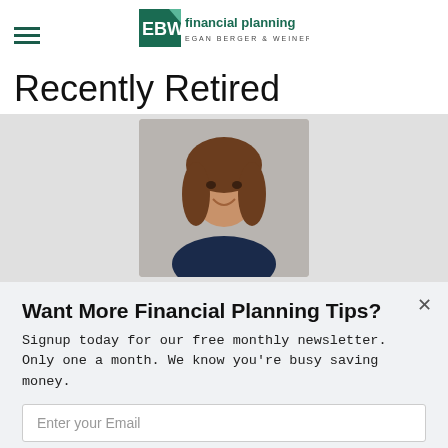EBW Financial Planning — EGAN BERGER & WEINER
Recently Retired
[Figure (photo): Headshot of a smiling woman with brown hair, wearing a dark top, against a grey background]
Want More Financial Planning Tips?
Signup today for our free monthly newsletter. Only one a month. We know you're busy saving money.
Enter your Email
Subscribe Now